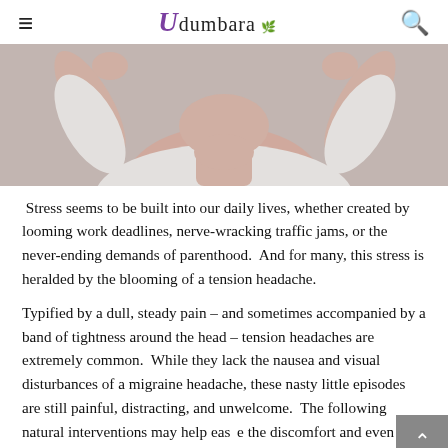Udumbara
[Figure (photo): Photo of a person in a white shirt with hands raised near their head, suggesting a headache or stress, photographed from shoulders up against a light background.]
Stress seems to be built into our daily lives, whether created by looming work deadlines, nerve-wracking traffic jams, or the never-ending demands of parenthood.  And for many, this stress is heralded by the blooming of a tension headache.
Typified by a dull, steady pain – and sometimes accompanied by a band of tightness around the head – tension headaches are extremely common.  While they lack the nausea and visual disturbances of a migraine headache, these nasty little episodes are still painful, distracting, and unwelcome.  The following natural interventions may help ease the discomfort and even put headaches on the run.  (Warning: